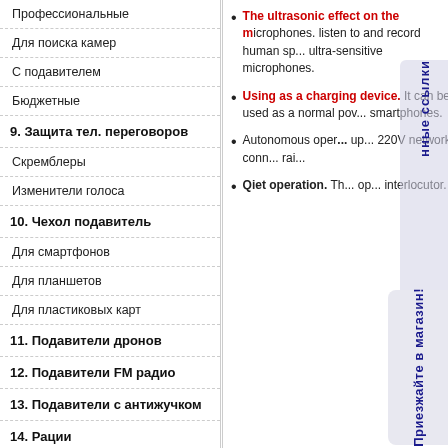Профессиональные
Для поиска камер
С подавителем
Бюджетные
9. Защита тел. переговоров
Скремблеры
Изменители голоса
10. Чехол подавитель
Для смартфонов
Для планшетов
Для пластиковых карт
11. Подавители дронов
12. Подавители FM радио
13. Подавители с антижучком
14. Рации
15. Направл. микрофоны
The ultrasonic effect on the microphones. listen to and record human sp... ultra-sensitive microphones.
Using as a charging device. It can be used as a normal pov... smartphones.
Autonomous oper... up... 220V network conn... rai...
Qiet operation. Th... op... interlocutor.